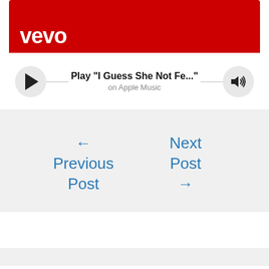[Figure (screenshot): Vevo red banner with white Vevo logo text]
Play "I Guess She Not Fe..." on Apple Music
← Previous Post
Next Post →